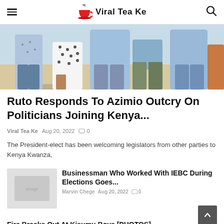Viral Tea Ke
[Figure (photo): Photo of people standing outdoors, showing lower halves of their bodies in various outfits including blue shirts, polka dot skirt, and brown trousers on a sandy surface.]
Ruto Responds To Azimio Outcry On Politicians Joining Kenya...
Viral Tea Ke  Aug 20, 2022  0
The President-elect has been welcoming legislators from other parties to Kenya Kwanza,
[Figure (photo): Thumbnail image for secondary article, light grey placeholder image.]
Businessman Who Worked With IEBC During Elections Goes...
Marvin Chege  Aug 20, 2022  0
Fire Breaks Out At Kisumu Boys [PHOTOS]